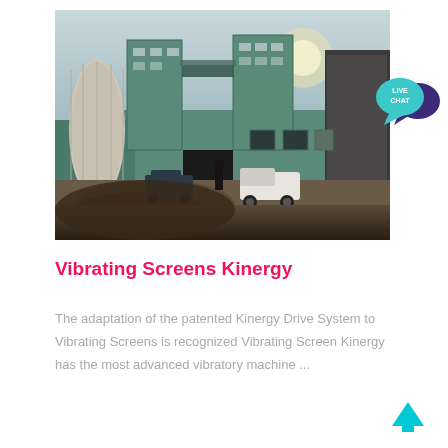[Figure (photo): Industrial facility with large green grain silos and conveyor structures, vehicles parked in front, debris in foreground, overcast sky]
[Figure (infographic): Live Chat speech bubble badge icon in teal/dark purple colors]
Vibrating Screens Kinergy
The adaptation of the patented Kinergy Drive System to Vibrating Screens is recognized Vibrating Screen Kinergy has the most advanced vibratory machine ...
[Figure (infographic): Cyan/teal upward arrow scroll-to-top button]